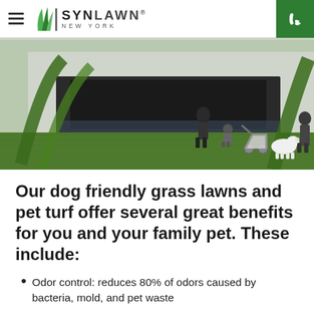SYN LAWN NEW YORK
[Figure (photo): Outdoor scene showing people with a stroller and a white dog walking on a green artificial grass lawn, with modern architectural elements and water feature in the background.]
Our dog friendly grass lawns and pet turf offer several great benefits for you and your family pet. These include:
Odor control: reduces 80% of odors caused by bacteria, mold, and pet waste